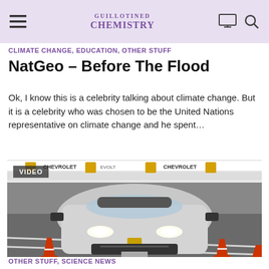GUILLOTINED CHEMISTRY
CLIMATE CHANGE, EDUCATION, OTHER STUFF
NatGeo – Before The Flood
Ok, I know this is a celebrity talking about climate change. But it is a celebrity who was chosen to be the United Nations representative on climate change and he spent...
[Figure (photo): Front view of a silver Chevrolet Bolt electric car navigating orange cones in a parking lot with Chevrolet branded banners in the background. A 'VIDEO' label is overlaid in the upper left corner of the image.]
OTHER STUFF, SCIENCE NEWS